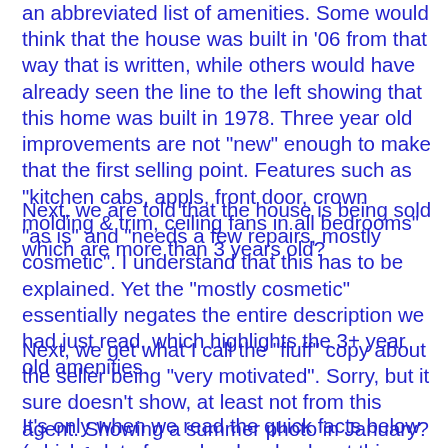an abbreviated list of amenities. Some would think that the house was built in '06 from that way that is written, while others would have already seen the line to the left showing that this home was built in 1978. Three year old improvements are not "new" enough to make that the first selling point. Features such as "kitchen cabs, appls, front door, crown molding & trim, ceiling fans in all bedrooms" which are more than 3 years old?
Next, we are told that the house is being sold "as is" and "needs a few repairs, mostly cosmetic". I understand that this has to be explained. Yet the "mostly cosmetic" essentially negates the entire description we had just read, which highlights the 3+ year old amenities.
Next, we get what I call the "fluff" copy about the seller being "very motivated". Sorry, but it sure doesn't show, at least not from this agent. Showing a summer photo in January? "New" from 2006?
It's only when we read the quick facts below (which a lot of people who check out this advertisement won't even stick around for) that we discover the serious flaws attached to...